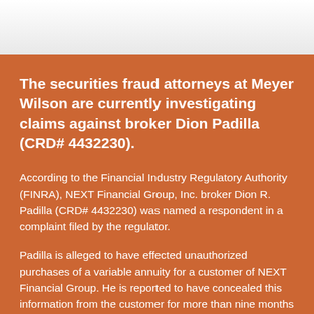The securities fraud attorneys at Meyer Wilson are currently investigating claims against broker Dion Padilla (CRD# 4432230).
According to the Financial Industry Regulatory Authority (FINRA), NEXT Financial Group, Inc. broker Dion R. Padilla (CRD# 4432230) was named a respondent in a complaint filed by the regulator.
Padilla is alleged to have effected unauthorized purchases of a variable annuity for a customer of NEXT Financial Group. He is reported to have concealed this information from the customer for more than nine months by repeatedly misrepresenting that he did not invest any of